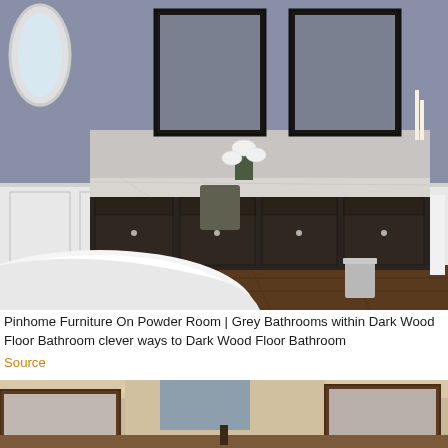[Figure (photo): Bathroom interior with dark wood vanity cabinets, marble countertop, two framed mirrors, grey walls with wainscoting, dark hardwood floor, white freestanding bathtub in foreground, orchid plant, candles, and silver bucket]
Pinhome Furniture On Powder Room | Grey Bathrooms within Dark Wood Floor Bathroom clever ways to Dark Wood Floor Bathroom
Source
[Figure (photo): Bathroom interior with beige/cream walls, recessed lighting, dark wood framed mirrors, and vanity area visible]